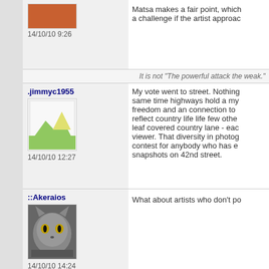14/10/10 9:26
Matsa makes a fair point, which a challenge if the artist approac
It is not "The powerful attack the weak."
.jimmyc1955
14/10/10 12:27
My vote went to street. Nothing same time highways hold a my freedom and an connection to reflect country life life few othe leaf covered country lane - eac viewer. That diversity in photog contest for anybody who has e snapshots on 42nd street.
::Akeraios
14/10/10 14:24
What about artists who don't po
There are few situations in life that cann either by suicide, a bag of gold, or by thr on a dark night. -- Kai Lung
::0930_23
I gave street a vote as well.